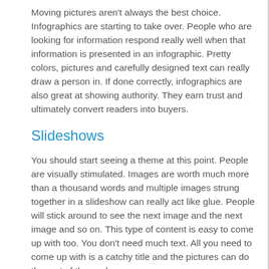Moving pictures aren't always the best choice. Infographics are starting to take over. People who are looking for information respond really well when that information is presented in an infographic. Pretty colors, pictures and carefully designed text can really draw a person in. If done correctly, infographics are also great at showing authority. They earn trust and ultimately convert readers into buyers.
Slideshows
You should start seeing a theme at this point. People are visually stimulated. Images are worth much more than a thousand words and multiple images strung together in a slideshow can really act like glue. People will stick around to see the next image and the next image and so on. This type of content is easy to come up with too. You don't need much text. All you need to come up with is a catchy title and the pictures can do the rest of the work.